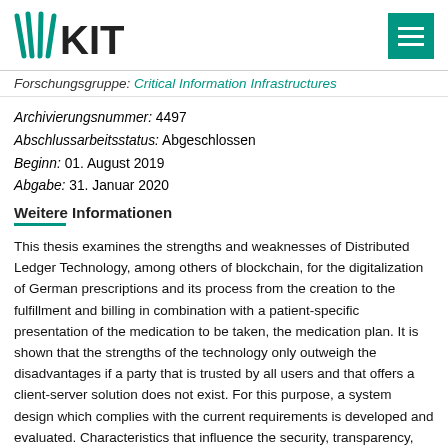[Figure (logo): KIT logo with teal fan/wave mark and bold KIT text, plus hamburger menu icon on the right]
Forschungsgruppe: Critical Information Infrastructures
Archivierungsnummer: 4497
Abschlussarbeitsstatus: Abgeschlossen
Beginn: 01. August 2019
Abgabe: 31. Januar 2020
Weitere Informationen
This thesis examines the strengths and weaknesses of Distributed Ledger Technology, among others of blockchain, for the digitalization of German prescriptions and its process from the creation to the fulfillment and billing in combination with a patient-specific presentation of the medication to be taken, the medication plan. It is shown that the strengths of the technology only outweigh the disadvantages if a party that is trusted by all users and that offers a client-server solution does not exist. For this purpose, a system design which complies with the current requirements is developed and evaluated. Characteristics that influence the security, transparency, usability, flexibility, further development, performance and legal compliance are considered